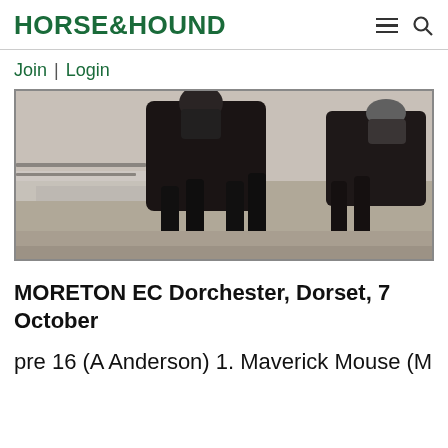HORSE&HOUND
Join | Login
[Figure (photo): Black and white photograph showing the legs and lower body of a dark horse in motion, with a rider partially visible, taken outdoors on an open field.]
MORETON EC Dorchester, Dorset, 7 October
pre 16 (A Anderson) 1. Maverick Mouse (M